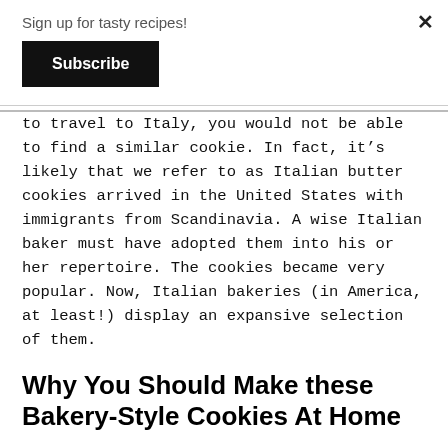Sign up for tasty recipes!
Subscribe
×
to travel to Italy, you would not be able to find a similar cookie. In fact, it's likely that we refer to as Italian butter cookies arrived in the United States with immigrants from Scandinavia. A wise Italian baker must have adopted them into his or her repertoire. The cookies became very popular. Now, Italian bakeries (in America, at least!) display an expansive selection of them.
Why You Should Make these Bakery-Style Cookies At Home
We can't think of a cookie that rewards minimum effort with more glitz and glamour. The cookie dough is dead easy to make. The star tip gives the cookies incredible flair. This is only enhanced by all of the potential decorating power they present. This